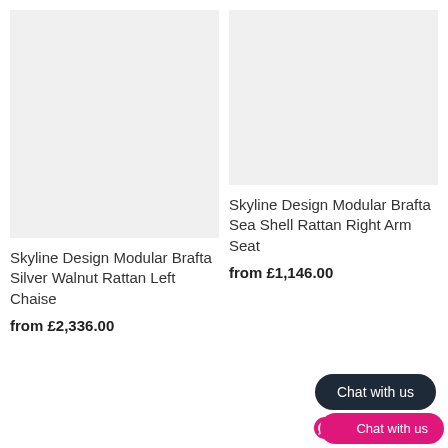[Figure (photo): Product image placeholder – light grey rectangle for Skyline Design Modular Brafta Silver Walnut Rattan Left Chaise]
[Figure (photo): Product image placeholder – light grey rectangle for Skyline Design Modular Brafta Sea Shell Rattan Right Arm Seat]
Skyline Design Modular Brafta Silver Walnut Rattan Left Chaise
from £2,336.00
Skyline Design Modular Brafta Sea Shell Rattan Right Arm Seat
from £1,146.00
Chat with us
Chat with us